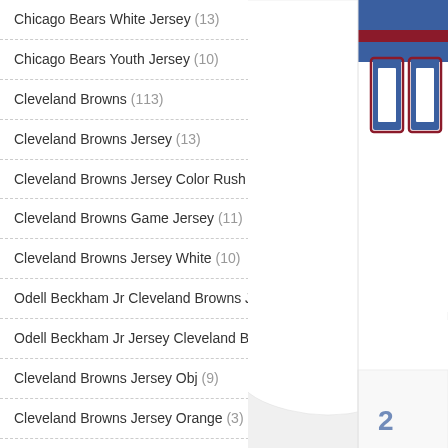Chicago Bears White Jersey (13)
Chicago Bears Youth Jersey (10)
Cleveland Browns (113)
Cleveland Browns Jersey (13)
Cleveland Browns Jersey Color Rush (3)
Cleveland Browns Game Jersey (11)
Cleveland Browns Jersey White (10)
Odell Beckham Jr Cleveland Browns Jersey (10)
Odell Beckham Jr Jersey Cleveland Browns (12)
Cleveland Browns Jersey Obj (9)
Cleveland Browns Jersey Orange (3)
Cleveland Browns Jersey 2020 (8)
Cleveland Browns Orange Jersey (2)
[Figure (photo): Football jersey in white with blue and red trim, number 00, displayed on the right side of the page. A partial view of another jersey appears at the bottom right.]